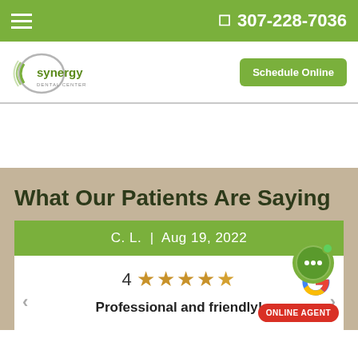307-228-7036
[Figure (logo): Synergy Dental Center logo]
Schedule Online
What Our Patients Are Saying
C. L. | Aug 19, 2022
4 ★★★★☆
Professional and friendly!